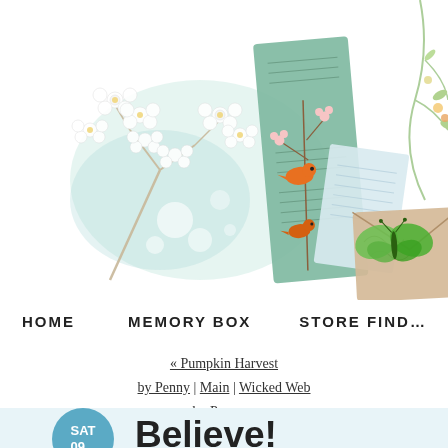[Figure (illustration): Decorative header with watercolor flowers, birds on branches, green butterfly, and vintage card/bookmark imagery on white background]
HOME   MEMORY BOX   STORE FIND…
« Pumpkin Harvest by Penny | Main | Wicked Web by Penny »
Believe!
SAT 09